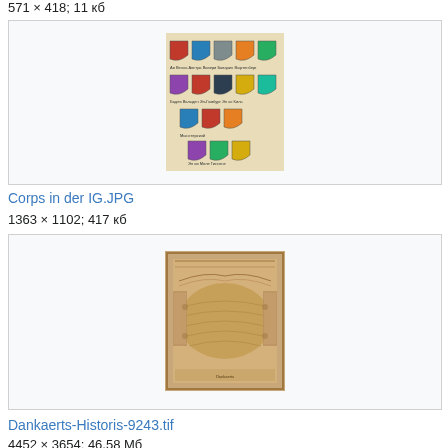571 × 418; 11 кб
[Figure (illustration): Colored heraldic shields/coats of arms arranged in rows on a beige background, with text labels beneath each shield]
Corps in der IG.JPG
1363 × 1102; 417 кб
[Figure (map): Historical antique map with decorative border showing a coastal region, sepia/brown tones, with ornamental cartouche elements on sides]
Dankaerts-Historis-9243.tif
4452 × 3654; 46,58 Мб